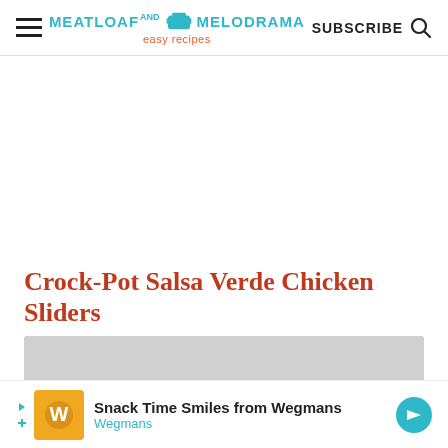Meatloaf and Melodrama — easy recipes | SUBSCRIBE
Crock-Pot Salsa Verde Chicken Sliders
[Figure (photo): Placeholder image area for the recipe photo, shown as a light gray rectangle]
[Figure (other): Bottom advertisement banner: Snack Time Smiles from Wegmans, Wegmans brand ad with orange logo image and teal navigation badge]